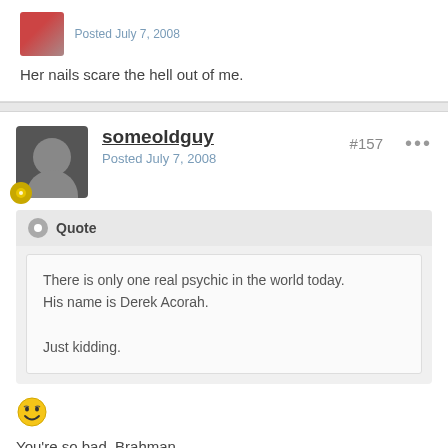Posted July 7, 2008
Her nails scare the hell out of me.
someoldguy
Posted July 7, 2008
#157
Quote
There is only one real psychic in the world today.
His name is Derek Acorah.

Just kidding.
You're so bad, Brahman.
Thanks, I really needed that laugh!